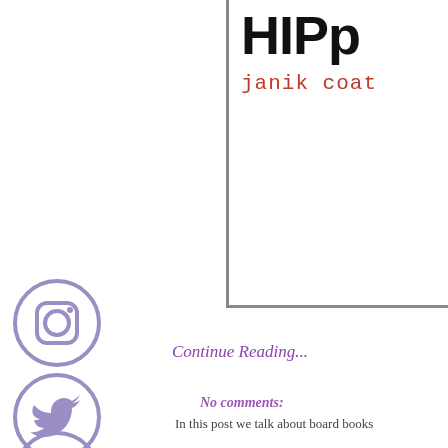[Figure (illustration): Book cover showing partial title text (appears to be 'HIPP...') in large bold black font and author name 'janik coat' in red monospace font, with gray border]
[Figure (illustration): Instagram social media icon - circle with camera outline in light purple/lavender color]
[Figure (illustration): Twitter social media icon - circle with bird in light purple/lavender color]
[Figure (illustration): Facebook social media icon - circle with 'f' in light purple/lavender color (partially visible)]
Continue Reading...
No comments:
In this post we talk about board books